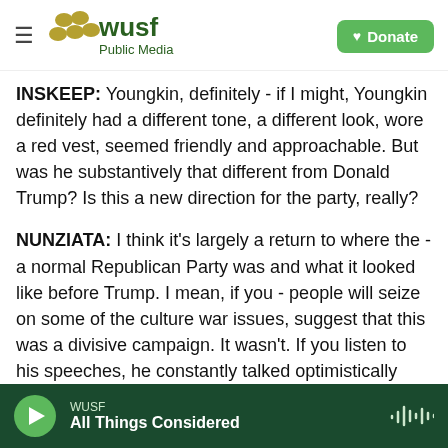WUSF Public Media — Donate
INSKEEP: Youngkin, definitely - if I might, Youngkin definitely had a different tone, a different look, wore a red vest, seemed friendly and approachable. But was he substantively that different from Donald Trump? Is this a new direction for the party, really?
NUNZIATA: I think it's largely a return to where the - a normal Republican Party was and what it looked like before Trump. I mean, if you - people will seize on some of the culture war issues, suggest that this was a divisive campaign. It wasn't. If you listen to his speeches, he constantly talked optimistically about the future of Virginia and the country. He
WUSF | All Things Considered